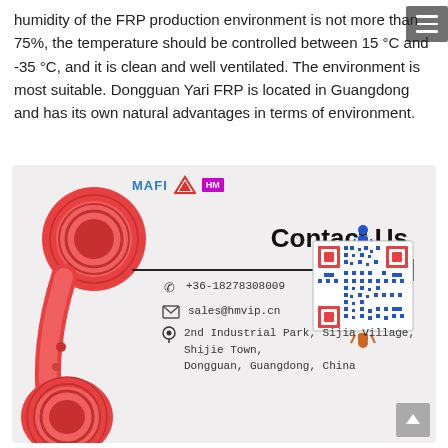humidity of the FRP production environment is not more than 75%, the temperature should be controlled between 15 °C and -35 °C, and it is clean and well ventilated. The environment is most suitable. Dongguan Yari FRP is located in Guangdong and has its own natural advantages in terms of environment.
[Figure (photo): Contact Us card with a red retro telephone handset, MAFI logos, phone number +36-18278308009, email sales@hmvip.cn, address 2nd Industrial Park, Sijia Village, Shijie Town, Dongguan, Guangdong, China, and a QR code.]